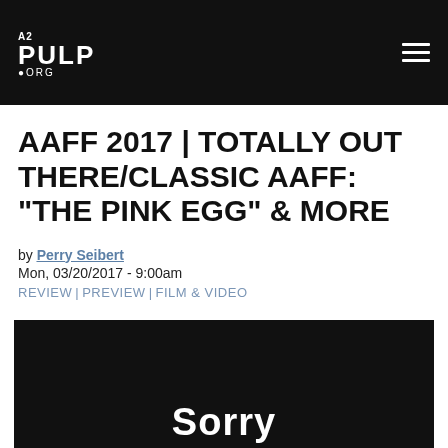A2 PULP ORG
AAFF 2017 | TOTALLY OUT THERE/CLASSIC AAFF: "THE PINK EGG" & MORE
by Perry Seibert
Mon, 03/20/2017 - 9:00am
REVIEW | PREVIEW | FILM & VIDEO
[Figure (photo): Dark video embed placeholder showing 'Sorry' text on black background]